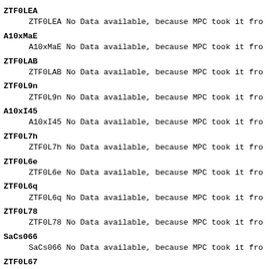ZTF0LEA
ZTF0LEA  No Data available, because MPC took it fro
A10xMaE
A10xMaE  No Data available, because MPC took it fro
ZTF0LAB
ZTF0LAB  No Data available, because MPC took it fro
ZTF0L9n
ZTF0L9n  No Data available, because MPC took it fro
A10xI45
A10xI45  No Data available, because MPC took it fro
ZTF0L7h
ZTF0L7h  No Data available, because MPC took it fro
ZTF0L6e
ZTF0L6e  No Data available, because MPC took it fro
ZTF0L6q
ZTF0L6q  No Data available, because MPC took it fro
ZTF0L78
ZTF0L78  No Data available, because MPC took it fro
SaCs066
SaCs066  No Data available, because MPC took it fro
ZTF0L67